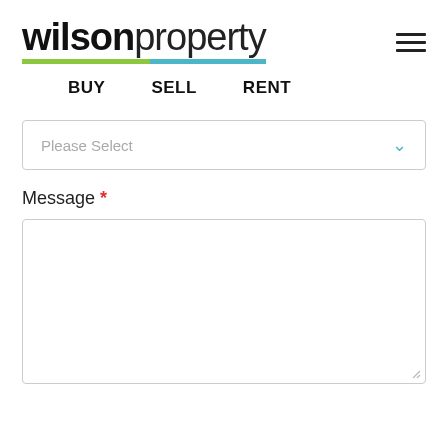[Figure (logo): Wilson Property logo with bold 'wilson' and regular 'property' text, underlined with green and blue horizontal bars]
BUY   SELL   RENT
Please Select
Message *
[Figure (other): Empty message textarea input box with resize handle]